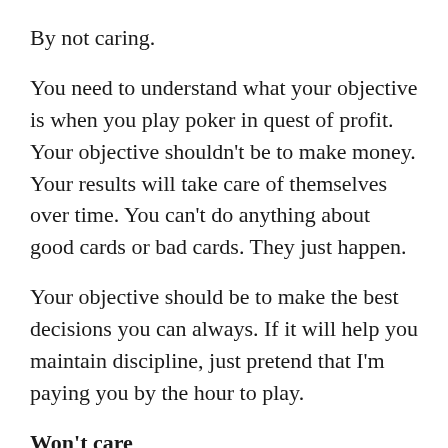By not caring.
You need to understand what your objective is when you play poker in quest of profit. Your objective shouldn't be to make money. Your results will take care of themselves over time. You can't do anything about good cards or bad cards. They just happen.
Your objective should be to make the best decisions you can always. If it will help you maintain discipline, just pretend that I'm paying you by the hour to play.
Won't care
As long as you make good decisions, I'll continue to pay you. I won't care whether you won a pot or lost it, as long as you did the right thing.
I know that in the long run, I'll expect to do just fine if you don't make mistakes. So, I'll monitor how you